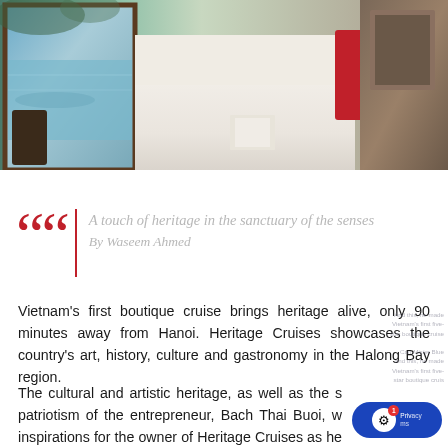[Figure (photo): Hotel room interior with large white bed, red accent pillow, open book on bed, wooden furniture, and a window view of water and greenery outside]
A touch of heritage in the sanctuary of the senses
By Waseem Ahmed
Vietnam's first boutique cruise brings heritage alive, only 90 minutes away from Hanoi. Heritage Cruises showcases the country's art, history, culture and gastronomy in the Halong Bay region.
The cultural and artistic heritage, as well as the s patriotism of the entrepreneur, Bach Thai Buoi, w inspirations for the owner of Heritage Cruises as he planned